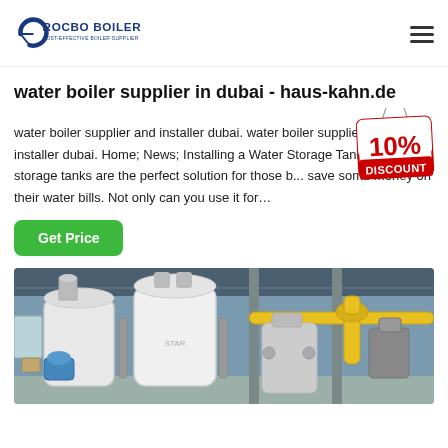ROCBO BOILER - COST-EFFECTIVE BOILER SUPPLIER
water boiler supplier in dubai - haus-kahn.de
water boiler supplier and installer dubai. water boiler supplier and installer dubai. Home; News; Installing a Water Storage Tank. Water storage tanks are the perfect solution for those b... save some money on their water bills. Not only can you use it for…
[Figure (illustration): 10% DISCOUNT badge/sticker in red and white text]
[Figure (photo): Industrial boiler equipment in a factory/warehouse setting with white cylindrical boilers and yellow gas pipes]
Get Price